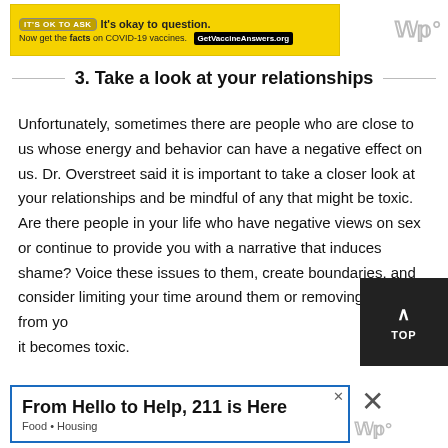[Figure (other): Yellow advertisement banner: 'It's okay to question. Now get the facts on COVID-19 vaccines. GetVaccineAnswers.org']
3. Take a look at your relationships
Unfortunately, sometimes there are people who are close to us whose energy and behavior can have a negative effect on us. Dr. Overstreet said it is important to take a closer look at your relationships and be mindful of any that might be toxic. Are there people in your life who have negative views on sex or continue to provide you with a narrative that induces shame? Voice these issues to them, create boundaries, and consider limiting your time around them or removing them from your life if it becomes toxic.
[Figure (other): Back to TOP button — dark background with upward arrow and 'TOP' text]
[Figure (other): Advertisement banner: 'From Hello to Help, 211 is Here · Food · Housing']